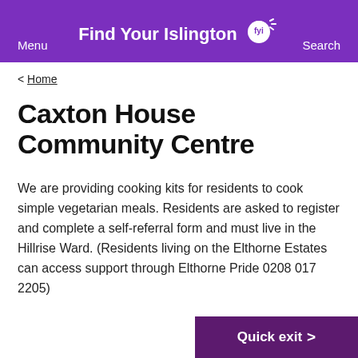Find Your Islington [FYI logo] Menu Search
< Home
Caxton House Community Centre
We are providing cooking kits for residents to cook simple vegetarian meals. Residents are asked to register and complete a self-referral form and must live in the Hillrise Ward. (Residents living on the Elthorne Estates can access support through Elthorne Pride 0208 017 2205)